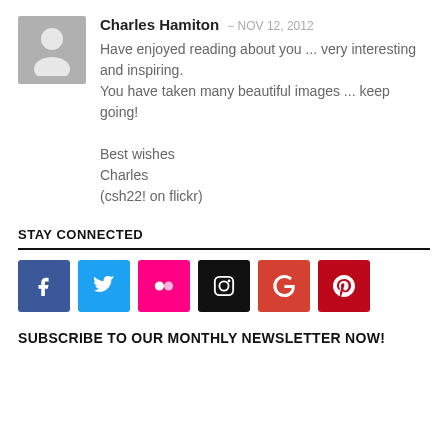[Figure (illustration): Grey avatar placeholder icon showing a person silhouette]
Charles Hamiton — NOV 12, 2012
Have enjoyed reading about you ... very interesting and inspiring.
You have taken many beautiful images ... keep going!

Best wishes
Charles
(csh22! on flickr)
STAY CONNECTED
[Figure (infographic): Row of six social media icon buttons: Facebook (blue), Twitter (light blue), Flickr (pink/magenta), Instagram (black), Google+ (orange-red), Pinterest (dark red)]
SUBSCRIBE TO OUR MONTHLY NEWSLETTER NOW!